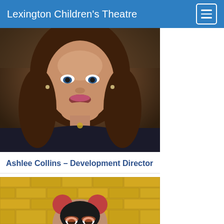Lexington Children's Theatre
[Figure (photo): Professional headshot of Ashlee Collins, a woman with long wavy brown hair, wearing a dark navy top with buttons and a gold pendant necklace, smiling at camera]
Ashlee Collins – Development Director
[Figure (photo): Photo of a young woman with pink/red hair in buns, standing in front of a yellow brick wall, looking at the camera]